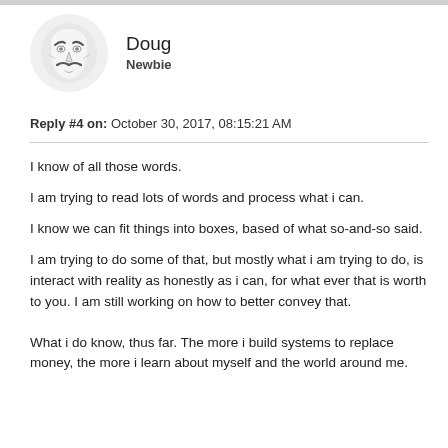[Figure (illustration): Circular avatar showing a Guy Fawkes / Anonymous mask illustration on a light grey background]
Doug
Newbie
Reply #4 on: October 30, 2017, 08:15:21 AM
I know of all those words.
I am trying to read lots of words and process what i can.
I know we can fit things into boxes, based of what so-and-so said.
I am trying to do some of that, but mostly what i am trying to do, is interact with reality as honestly as i can, for what ever that is worth to you. I am still working on how to better convey that.
What i do know, thus far. The more i build systems to replace money, the more i learn about myself and the world around me.